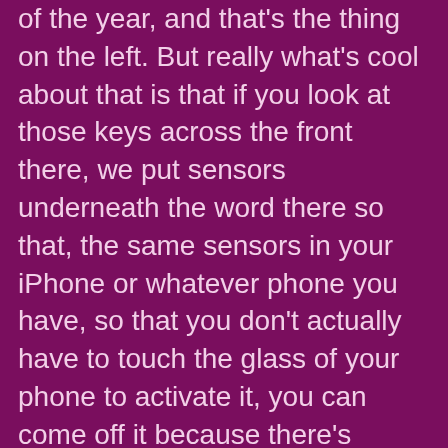of the year, and that's the thing on the left. But really what's cool about that is that if you look at those keys across the front there, we put sensors underneath the word there so that, the same sensors in your iPhone or whatever phone you have, so that you don't actually have to touch the glass of your phone to activate it, you can come off it because there's sensors underneath that glass.

David Butler: Those were the same sensors we put underneath that piano so that when a child, a baby, actually goes to play the piano, it's very easy, very easy to play the piano, again, to encourage them to be more